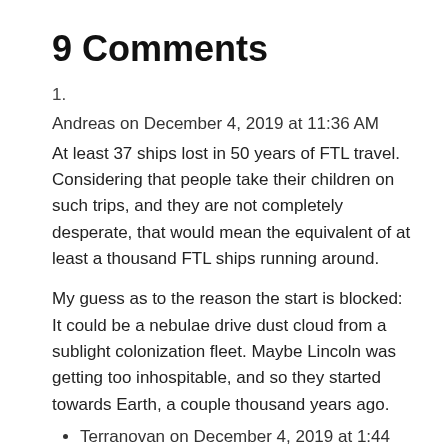9 Comments
1.
Andreas on December 4, 2019 at 11:36 AM
At least 37 ships lost in 50 years of FTL travel. Considering that people take their children on such trips, and they are not completely desperate, that would mean the equivalent of at least a thousand FTL ships running around.
My guess as to the reason the start is blocked: It could be a nebulae drive dust cloud from a sublight colonization fleet. Maybe Lincoln was getting too inhospitable, and so they started towards Earth, a couple thousand years ago.
Terranovan on December 4, 2019 at 1:44 PM